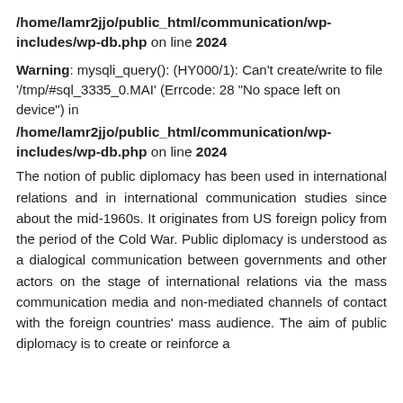/home/lamr2jjo/public_html/communication/wp-includes/wp-db.php on line 2024
Warning: mysqli_query(): (HY000/1): Can't create/write to file '/tmp/#sql_3335_0.MAI' (Errcode: 28 "No space left on device") in /home/lamr2jjo/public_html/communication/wp-includes/wp-db.php on line 2024
The notion of public diplomacy has been used in international relations and in international communication studies since about the mid-1960s. It originates from US foreign policy from the period of the Cold War. Public diplomacy is understood as a dialogical communication between governments and other actors on the stage of international relations via the mass communication media and non-mediated channels of contact with the foreign countries' mass audience. The aim of public diplomacy is to create or reinforce a